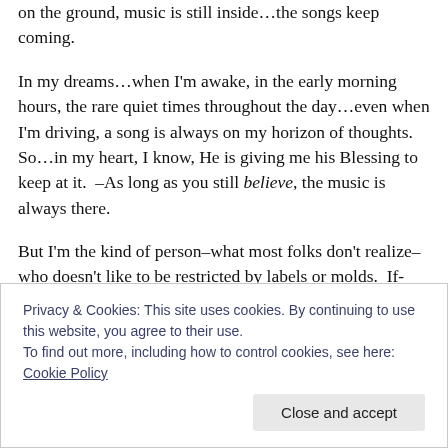on the ground, music is still inside…the songs keep coming.
In my dreams…when I'm awake, in the early morning hours, the rare quiet times throughout the day…even when I'm driving, a song is always on my horizon of thoughts.  So…in my heart, I know, He is giving me his Blessing to keep at it.  –As long as you still believe, the music is always there.
But I'm the kind of person–what most folks don't realize–who doesn't like to be restricted by labels or molds.  If-
Privacy & Cookies: This site uses cookies. By continuing to use this website, you agree to their use.
To find out more, including how to control cookies, see here: Cookie Policy
Close and accept